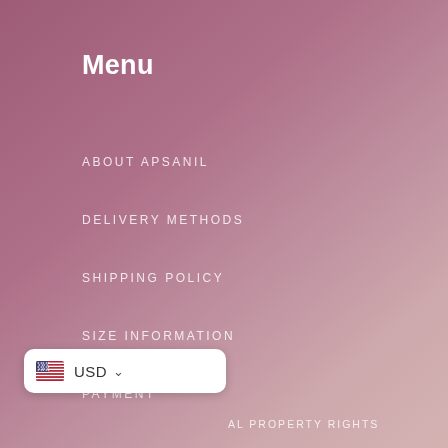Menu
ABOUT APSANIL
DELIVERY METHODS
SHIPPING POLICY
SIZE INFORMATION
PAYMENT
APSANIL SUPPORT
ABOUT THE EPIDEMIC
[Figure (other): USD currency selector with US flag icon and dropdown chevron]
AL PROPERTY RIGHTS